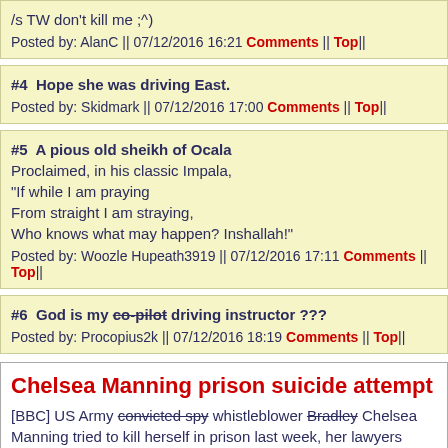/s TW don't kill me ;^)
Posted by: AlanC || 07/12/2016 16:21 Comments || Top||
#4  Hope she was driving East.
Posted by: Skidmark || 07/12/2016 17:00 Comments || Top||
#5  A pious old sheikh of Ocala
Proclaimed, in his classic Impala,
"If while I am praying
From straight I am straying,
Who knows what may happen? Inshallah!"
Posted by: Woozle Hupeath3919 || 07/12/2016 17:11 Comments || Top||
#6  God is my co-pilot driving instructor ???
Posted by: Procopius2k || 07/12/2016 18:19 Comments || Top||
Chelsea Manning prison suicide attempt
[BBC] US Army convicted spy whistleblower Bradley Chelsea Manning tried to kill herself in prison last week, her lawyers have confirmed. Ms Manning, who is transgender, is serving a 35-year sentence at an all-male m